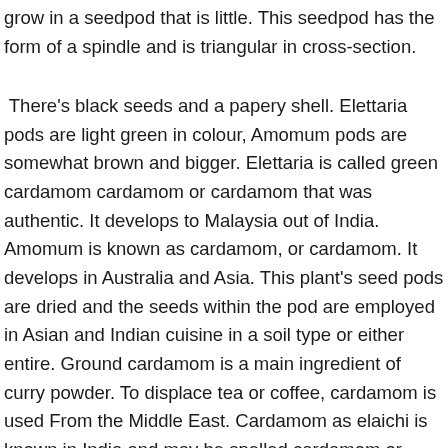grow in a seedpod that is little. This seedpod has the form of a spindle and is triangular in cross-section.
There's black seeds and a papery shell. Elettaria pods are light green in colour, Amomum pods are somewhat brown and bigger. Elettaria is called green cardamom cardamom or cardamom that was authentic. It develops to Malaysia out of India. Amomum is known as cardamom, or cardamom. It develops in Australia and Asia. This plant's seed pods are dried and the seeds within the pod are employed in Asian and Indian cuisine in a soil type or either entire. Ground cardamom is a main ingredient of curry powder. To displace tea or coffee, cardamom is used From the Middle East. Cardamom as elaichi is known in India and may be spelled cardamom or cardamon.